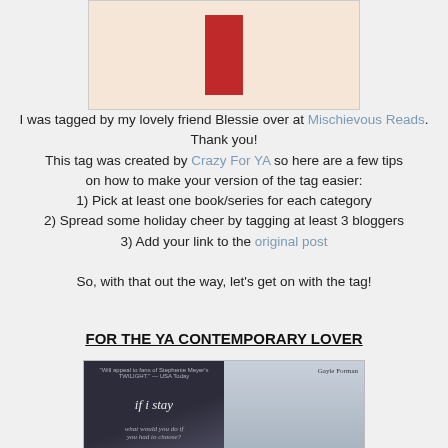[Figure (illustration): Top portion of a book cover with a beige/cream background and a red rectangular shape centered on it]
I was tagged by my lovely friend Blessie over at Mischievous Reads. Thank you!
This tag was created by Crazy For YA so here are a few tips on how to make your version of the tag easier:
1) Pick at least one book/series for each category
2) Spread some holiday cheer by tagging at least 3 bloggers
3) Add your link to the original post

So, with that out the way, let's get on with the tag!
FOR THE YA CONTEMPORARY LOVER
[Figure (photo): Two book covers side by side: 'If I Stay' by Gayle Forman (left, dark moody cover) and another Gayle Forman book (right, partial cover showing a girl with dark hair)]